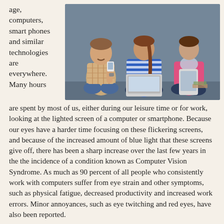age, computers, smart phones and similar technologies are everywhere. Many hours
[Figure (photo): Three young adults sitting side by side looking at their devices: a man on the left using a smartphone, a woman in the middle with a laptop, and a woman on the right using a tablet.]
are spent by most of us, either during our leisure time or for work, looking at the lighted screen of a computer or smartphone. Because our eyes have a harder time focusing on these flickering screens, and because of the increased amount of blue light that these screens give off, there has been a sharp increase over the last few years in the the incidence of a condition known as Computer Vision Syndrome. As much as 90 percent of all people who consistently work with computers suffer from eye strain and other symptoms, such as physical fatigue, decreased productivity and increased work errors. Minor annoyances, such as eye twitching and red eyes, have also been reported.
Fortunately, one can take several steps to reduce his/her risk of computer vision syndrome and common symptoms: